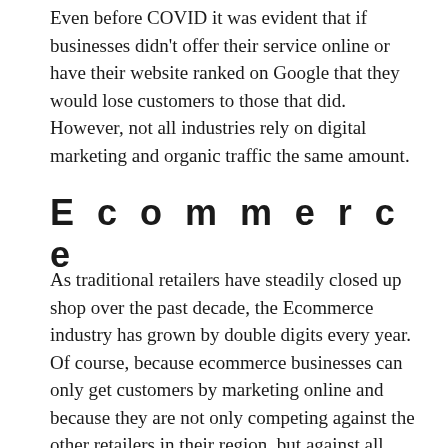Even before COVID it was evident that if businesses didn't offer their service online or have their website ranked on Google that they would lose customers to those that did. However, not all industries rely on digital marketing and organic traffic the same amount.
Ecommerce
As traditional retailers have steadily closed up shop over the past decade, the Ecommerce industry has grown by double digits every year. Of course, because ecommerce businesses can only get customers by marketing online and because they are not only competing against the other retailers in their region, but against all retailers in the country, the competition for website traffic and purchasers is fierce. The competition has become so fierce in fact that marketing expenses is now the largest expense on the